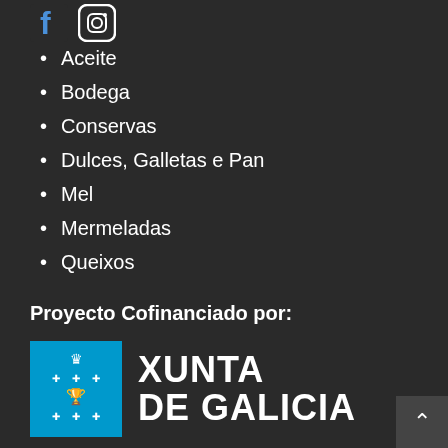[Figure (logo): Social media icons (Facebook and Instagram) in top left area]
Aceite
Bodega
Conservas
Dulces, Galletas e Pan
Mel
Mermeladas
Queixos
Proyecto Cofinanciado por:
[Figure (logo): Xunta de Galicia logo: blue square with coat of arms icon on left, bold white text XUNTA DE GALICIA on right]